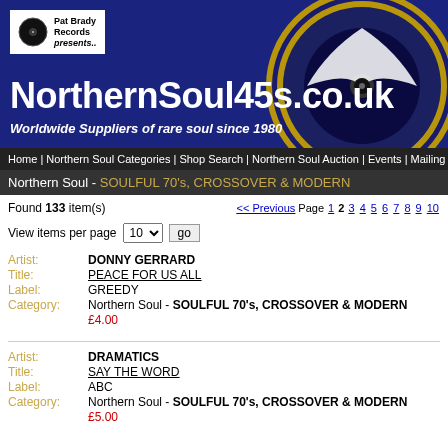[Figure (logo): NorthernSoul45s.co.uk banner with Pat Brady Records logo, vinyl record graphic, site name and tagline 'Worldwide Suppliers of rare soul since 1980' on dark blue background]
Home | Northern Soul Categories | Shop Search | Northern Soul Auction | Events | Mailing
Northern Soul - SOULFUL 70's, CROSSOVER & MODERN
Found 133 item(s)
<< Previous Page 1 2 3 4 5 6 7 8 9 10
View items per page 10 go
Artist: DONNY GERRARD
Title: PEACE FOR US ALL
Label: GREEDY
Category: Northern Soul - SOULFUL 70's, CROSSOVER & MODERN
£4.00
Artist: DRAMATICS
Title: SAY THE WORD
Label: ABC
Category: Northern Soul - SOULFUL 70's, CROSSOVER & MODERN
£5.00